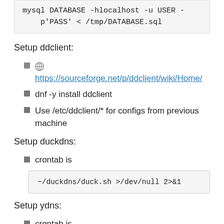mysql DATABASE -hlocalhost -u USER -p'PASS' < /tmp/DATABASE.sql
Setup ddclient:
https://sourceforge.net/p/ddclient/wiki/Home/
dnf -y install ddclient
Use /etc/ddclient/* for configs from previous machine
Setup duckdns:
crontab is
~/duckdns/duck.sh >/dev/null 2>&1
Setup ydns:
crontab is
~/ydns/updater.sh -V -u <snip> -p <s